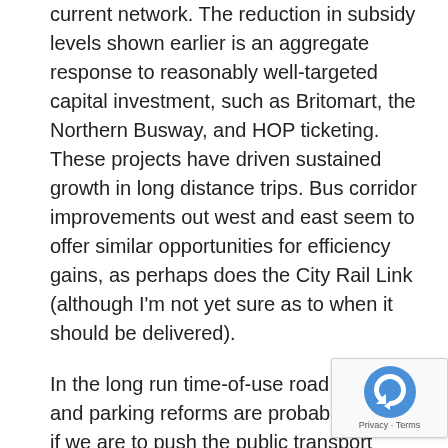current network.  The reduction in subsidy levels shown earlier is an aggregate response to reasonably well-targeted capital investment, such as Britomart, the Northern Busway, and HOP ticketing.  These projects have driven sustained growth in long distance trips.  Bus corridor improvements out west and east seem to offer similar opportunities for efficiency gains, as perhaps does the City Rail Link (although I'm not yet sure as to when it should be delivered).
In the long run time-of-use road pricing and parking reforms are probably needed if we are to push the public transport network towards the point where it is financially self-supporting – which would allow to ignore characters like Joyce altogether.  These ironically enough, the very externalities that justify